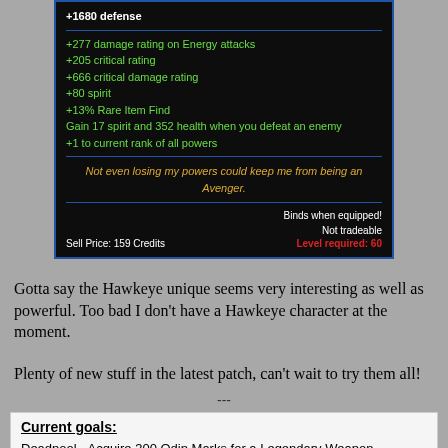[Figure (screenshot): Game UI screenshot showing item stats panel with defense, damage rating, critical rating, critical damage rating, spirit, rare item find, on-kill effect, power rank bonus, flavor text quote, binds/not tradeable info, sell price and level requirement.]
Gotta say the Hawkeye unique seems very interesting as well as powerful. Too bad I don't have a Hawkeye character at the moment.
Plenty of new stuff in the latest patch, can't wait to try them all!
---
Current goals:
Deadpool - Acquire 300 Odin Marks for a Legendary Weapon
Deadpool - Reach Level 60 (Achieved!)
Reach Crafter Level 20